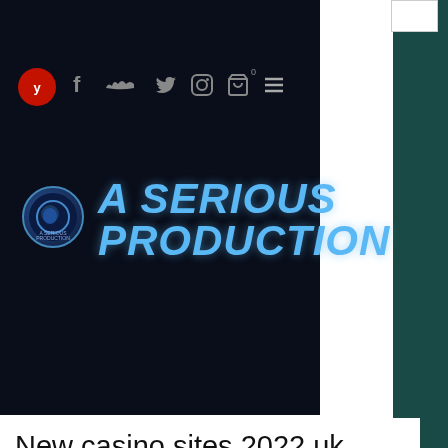A SERIOUS PRODUCTION
New casino sites 2022 uk
New casino sites 2022 uk
[Figure (photo): Blurred casino scene showing animated characters and gaming interface with colorful background]